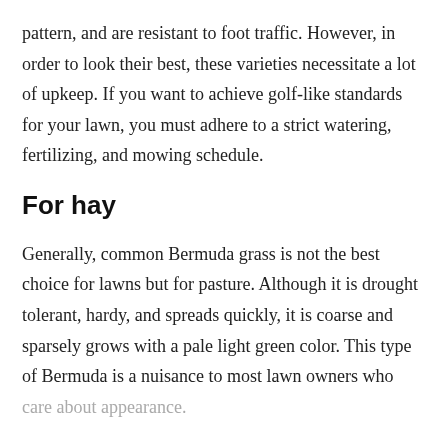pattern, and are resistant to foot traffic. However, in order to look their best, these varieties necessitate a lot of upkeep. If you want to achieve golf-like standards for your lawn, you must adhere to a strict watering, fertilizing, and mowing schedule.
For hay
Generally, common Bermuda grass is not the best choice for lawns but for pasture. Although it is drought tolerant, hardy, and spreads quickly, it is coarse and sparsely grows with a pale light green color. This type of Bermuda is a nuisance to most lawn owners who care about appearance.